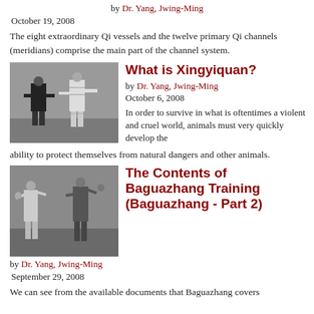by Dr. Yang, Jwing-Ming
October 19, 2008
The eight extraordinary Qi vessels and the twelve primary Qi channels (meridians) comprise the main part of the channel system.
What is Xingyiquan?
[Figure (photo): Two martial artists in a sparring stance, one in black and one in white uniform.]
by Dr. Yang, Jwing-Ming
October 6, 2008
In order to survive in what is oftentimes a violent and cruel world, animals must very quickly develop the ability to protect themselves from natural dangers and other animals.
The Contents of Baguazhang Training (Baguazhang - Part 2)
[Figure (photo): Two martial artists practicing Baguazhang techniques facing each other.]
by Dr. Yang, Jwing-Ming
September 29, 2008
We can see from the available documents that Baguazhang covers